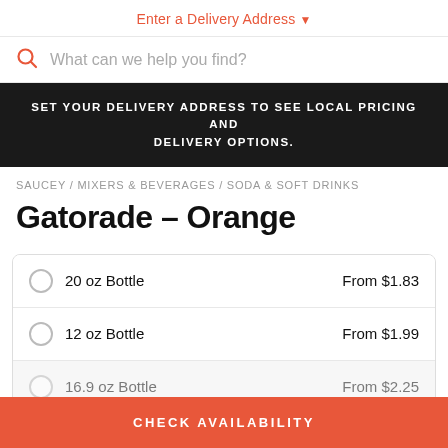Enter a Delivery Address ♥
What can we help you find?
SET YOUR DELIVERY ADDRESS TO SEE LOCAL PRICING AND DELIVERY OPTIONS.
SAUCEY / MIXERS & BEVERAGES / SODA & SOFT DRINKS
Gatorade – Orange
| Option | Price |
| --- | --- |
| 20 oz Bottle | From $1.83 |
| 12 oz Bottle | From $1.99 |
| 16.9 oz Bottle | From $2.25 |
CHECK AVAILABILITY